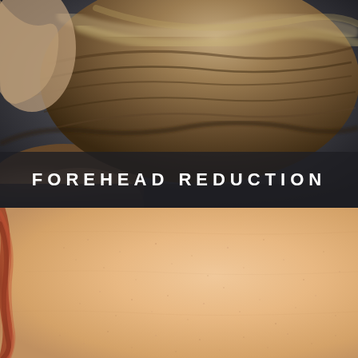[Figure (photo): Close-up photo of a person's hair and scalp from behind, showing hairline. Person has brown hair with highlights, hand raised to back of head. Dark grey background. Image covers the upper portion of the page.]
FOREHEAD REDUCTION
[Figure (photo): Close-up macro photo of smooth human skin (forehead/scalp skin texture), peach/tan color showing fine skin texture and pores. Partial view of reddish hair visible at left edge. Covers the lower portion of the page.]